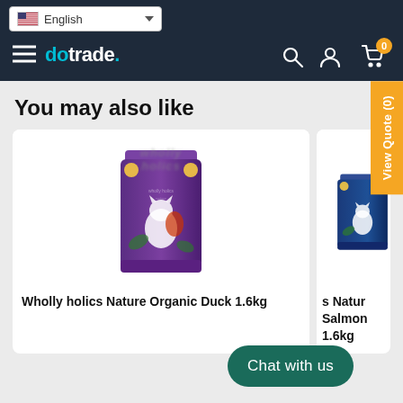dotrade. — navigation bar with language selector (English), hamburger menu, search, account, cart (0)
You may also like
[Figure (photo): Product card showing a purple pet food bag 'Wholly holics Nature Organic Duck 1.6kg' with a cat illustration on the packaging]
Wholly holics Nature Organic Duck 1.6kg
[Figure (photo): Partially visible product card showing a blue pet food bag 's Nature Salmon 1.6kg']
s Natur Salmon 1.6kg